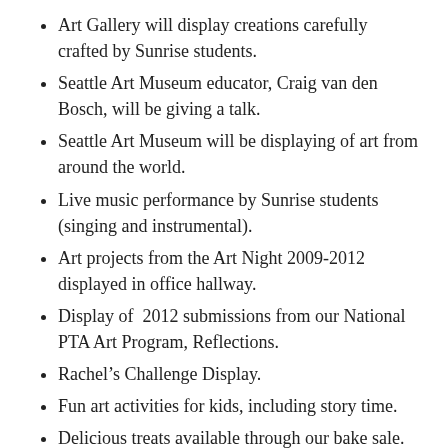Art Gallery will display creations carefully crafted by Sunrise students.
Seattle Art Museum educator, Craig van den Bosch, will be giving a talk.
Seattle Art Museum will be displaying of art from around the world.
Live music performance by Sunrise students (singing and instrumental).
Art projects from the Art Night 2009-2012 displayed in office hallway.
Display of  2012 submissions from our National PTA Art Program, Reflections.
Rachel’s Challenge Display.
Fun art activities for kids, including story time.
Delicious treats available through our bake sale.
To make this year’s celebration a success, we are in great need of your help. Anyone is welcome to volunteer – Moms, Dads, or Grandparents, as well as teens wanting to earn